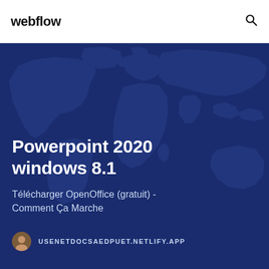webflow
Powerpoint 2020 windows 8.1
Télécharger OpenOffice (gratuit) - Comment Ça Marche
USENETDOCSAEDPUET.NETLIFY.APP
[Figure (map): World map silhouette in dark blue tones used as hero background]